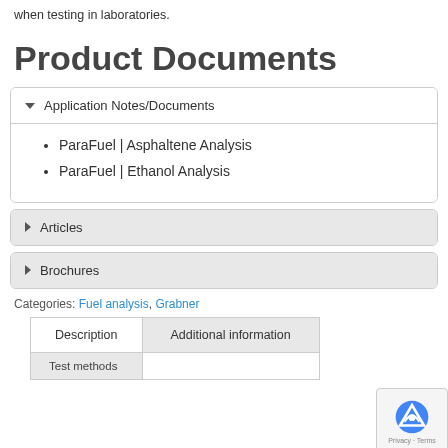when testing in laboratories.
Product Documents
ParaFuel | Asphaltene Analysis
ParaFuel | Ethanol Analysis
▶ Articles
▶ Brochures
Categories: Fuel analysis, Grabner
| Description | Additional information |
| --- | --- |
| Test methods |  |